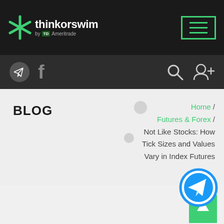thinkorswim by TD Ameritrade
[Figure (logo): Thinkorswim by TD Ameritrade logo with green asterisk star icon and navigation menu button with green border]
[Figure (infographic): Second navigation bar with Telegram icon, Facebook icon on left, search icon and add user icon on right, dark background]
BLOG
Home / Futures & Forex / Not Like Stocks: How Tick Sizes and Values Vary in Index Futures
[Figure (illustration): Large circular Telegram send button icon with blue border]
[Figure (illustration): Green square scroll-to-top button with upward arrow]
[Figure (photo): Partial bottom image showing what appears to be a zipper or metallic object]